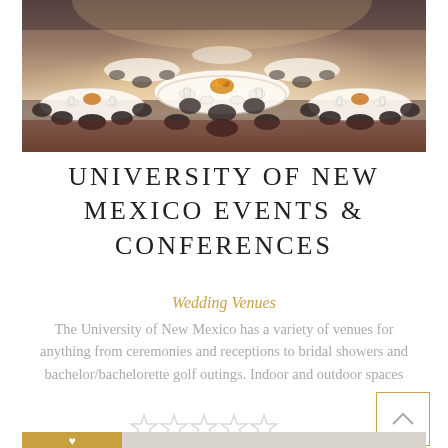[Figure (photo): Banquet hall setup with round tables covered in white tablecloths, place settings, folded napkins, and floral centerpieces, with dark chairs around each table.]
UNIVERSITY OF NEW MEXICO EVENTS & CONFERENCES
Wedding Venues
The University of New Mexico has a variety of venues for anything from ceremonies and receptions to bridal showers and bachelor/bachelorette golf outings. Indoor and outdoor spaces
[Figure (other): Five empty star rating icons in a row]
[Figure (photo): Partial view of a second listing photo showing a person's hands and a golden/tan colored element in the lower left corner with a heart icon.]